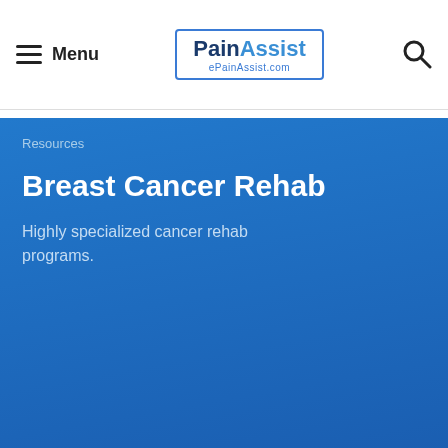Menu | PainAssist | ePainAssist.com
Resources
Breast Cancer Rehab
Highly specialized cancer rehab programs.
[Figure (map): Google Maps screenshot showing Ashburn area with markers for Texas Roadhouse, HomeGoods, SpringHill Suites by Marriott Ashburn, EatLoco Farmers Market at One Loudoun, and road 823.]